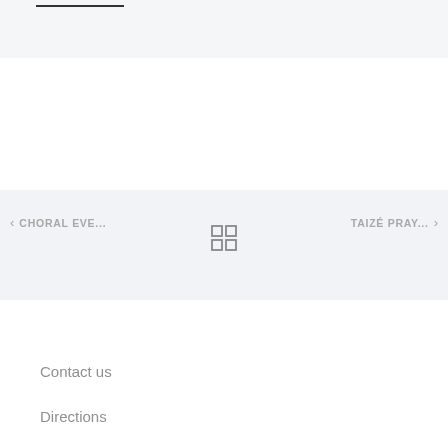[Figure (screenshot): Top section with light gray background and a short dark horizontal line near top-left]
< CHORAL EVE...
[Figure (other): Grid/apps icon (2x2 squares) in the center of navigation bar]
TAIZÉ PRAY... >
Contact us
Directions